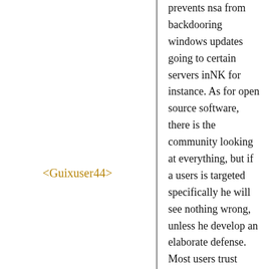prevents nsa from backdooring windows updates going to certain servers inNK for instance. As for open source software, there is the community looking at everything, but if a users is targeted specifically he will see nothing wrong, unless he develop an elaborate defense. Most users trust software signed with a trusted pgp key
<Guixuser44>